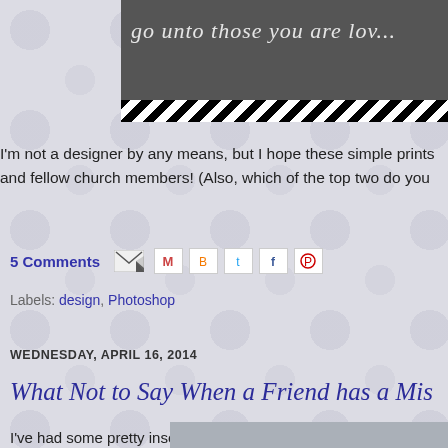[Figure (illustration): Top banner with dark gray background showing cursive/script text partially visible, with black and white diagonal stripes bar below it]
I'm not a designer by any means, but I hope these simple prints and fellow church members! (Also, which of the top two do you
5 Comments
Labels: design, Photoshop
WEDNESDAY, APRIL 16, 2014
What Not to Say When a Friend has a Mis
I've had some pretty insensitive things said to me when I've ope to friends, family, and church acquaintances. Here they are, wit Hopefully this can help you connect to a friend who is or has go